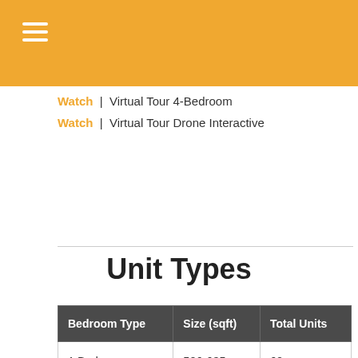Watch | Virtual Tour 4-Bedroom
Watch | Virtual Tour Drone Interactive
Unit Types
| Bedroom Type | Size (sqft) | Total Units |
| --- | --- | --- |
| 1 Bedroom | 506-635 | 60 |
| 2 Bedroom | 624-969 | 66 |
| 3 Bedroom | 958-1206 | 29 |